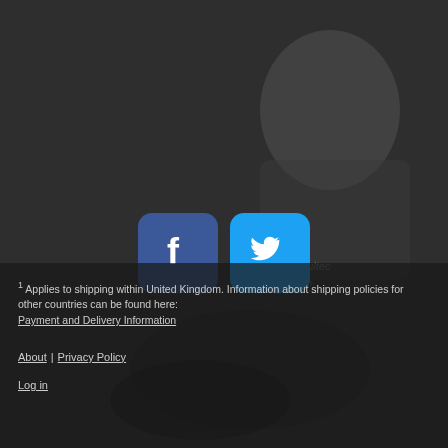6. Adam Roynon (4.39) - 2 , 0 , 1 , 1 , 1 = 3TT
7. Mitchell Davey (3.00) - 0 , 0 , 0 = 0
[Figure (photo): Speedway motorcycle rider wearing helmet and racing gear, with Poultec gym branding visible. Black and white/grayscale photograph. Social media share buttons (Facebook blue and Twitter blue) overlaid on the image.]
1 Applies to shipping within United Kingdom. Information about shipping policies for other countries can be found here: Payment and Delivery Information
About | Privacy Policy
Log in